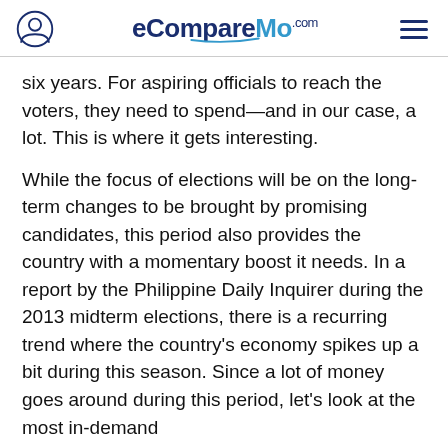eCompareMo.com
six years. For aspiring officials to reach the voters, they need to spend—and in our case, a lot. This is where it gets interesting.
While the focus of elections will be on the long-term changes to be brought by promising candidates, this period also provides the country with a momentary boost it needs. In a report by the Philippine Daily Inquirer during the 2013 midterm elections, there is a recurring trend where the country's economy spikes up a bit during this season. Since a lot of money goes around during this period, let's look at the most in-demand